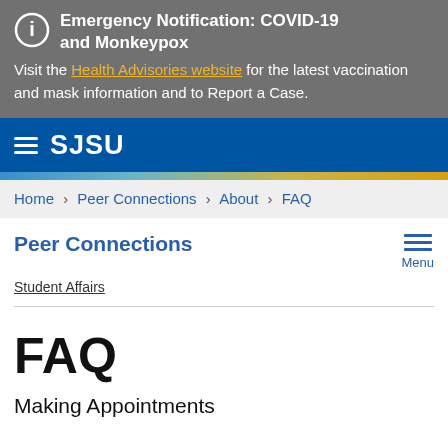Emergency Notification: COVID-19 and Monkeypox
Visit the Health Advisories website for the latest vaccination and mask information and to Report a Case.
[Figure (logo): SJSU navigation bar with hamburger menu and SJSU logo in white on blue background]
Home > Peer Connections > About > FAQ
Peer Connections
Student Affairs
FAQ
Making Appointments